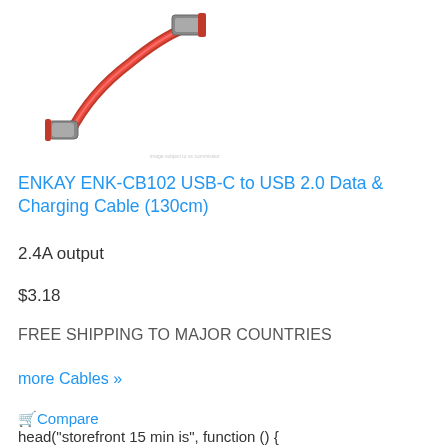[Figure (photo): Product photo of a red USB-C to USB 2.0 cable (ENKAY brand) with braided red cable and metal connectors on white background]
ENKAY ENK-CB102 USB-C to USB 2.0 Data & Charging Cable (130cm)
2.4A output
$3.18
FREE SHIPPING TO MAJOR COUNTRIES
more Cables »
🛒Compare
head("storefront 15 min is", function () {